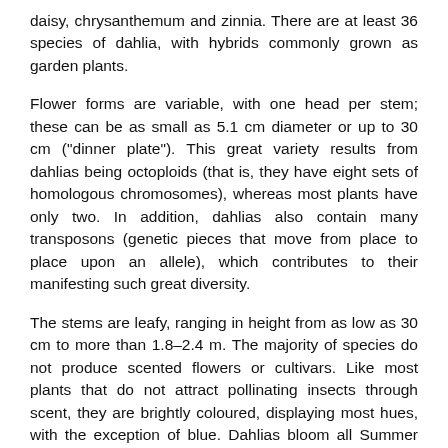daisy, chrysanthemum and zinnia. There are at least 36 species of dahlia, with hybrids commonly grown as garden plants.
Flower forms are variable, with one head per stem; these can be as small as 5.1 cm diameter or up to 30 cm ("dinner plate"). This great variety results from dahlias being octoploids (that is, they have eight sets of homologous chromosomes), whereas most plants have only two. In addition, dahlias also contain many transposons (genetic pieces that move from place to place upon an allele), which contributes to their manifesting such great diversity.
The stems are leafy, ranging in height from as low as 30 cm to more than 1.8–2.4 m. The majority of species do not produce scented flowers or cultivars. Like most plants that do not attract pollinating insects through scent, they are brightly coloured, displaying most hues, with the exception of blue. Dahlias bloom all Summer and most of Autumn in temperate climates, making quite a show in our Autumn garden at the moment.